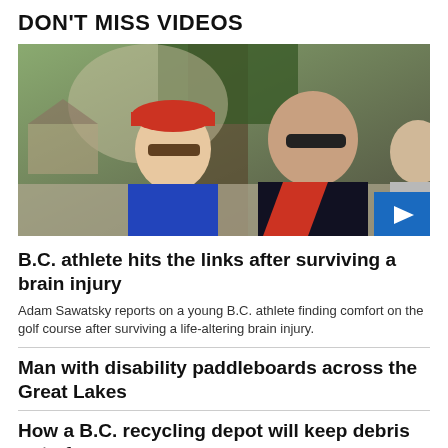DON'T MISS VIDEOS
[Figure (photo): Two men smiling outdoors near trees, one wearing a red cap and blue polo shirt, the other in a dark and red polo shirt with sunglasses. A play button overlay appears at bottom right.]
B.C. athlete hits the links after surviving a brain injury
Adam Sawatsky reports on a young B.C. athlete finding comfort on the golf course after surviving a life-altering brain injury.
Man with disability paddleboards across the Great Lakes
How a B.C. recycling depot will keep debris out of